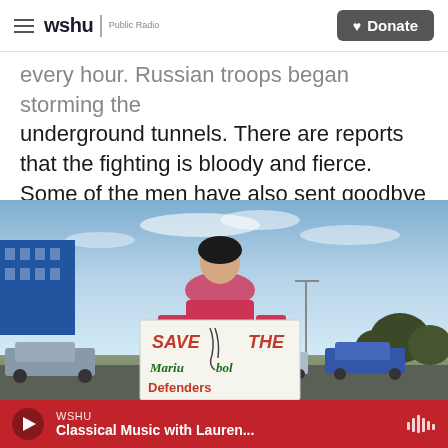wshu | Public Radio — Donate
every hour. Russian troops began storming the underground tunnels. There are reports that the fighting is bloody and fierce. Some of the men have also sent goodbye messages to their spouses.
[Figure (photo): A young woman holding a protest sign reading 'SAVE THE Mariupol Defenders' standing in a parking lot with cars and buildings in background.]
WSHU — Classical Music with Lauren...